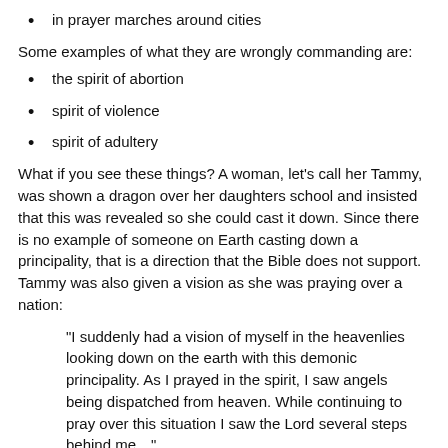in prayer marches around cities
Some examples of what they are wrongly commanding are:
the spirit of abortion
spirit of violence
spirit of adultery
What if you see these things? A woman, let's call her Tammy, was shown a dragon over her daughters school and insisted that this was revealed so she could cast it down. Since there is no example of someone on Earth casting down a principality, that is a direction that the Bible does not support. Tammy was also given a vision as she was praying over a nation:
“I suddenly had a vision of myself in the heavenlies looking down on the earth with this demonic principality. As I prayed in the spirit, I saw angels being dispatched from heaven. While continuing to pray over this situation I saw the Lord several steps behind me…”